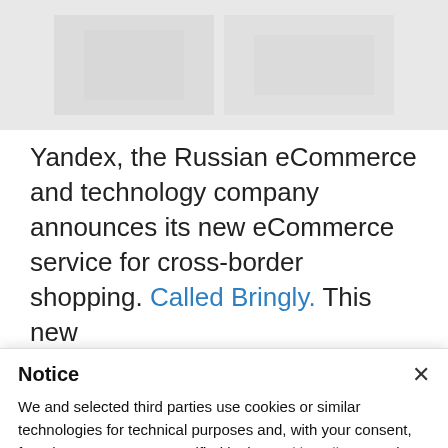[Figure (photo): Partial view of an article page with a photo at the top, showing a blurred/faded interior scene]
Yandex, the Russian eCommerce and technology company announces its new eCommerce service for cross-border shopping. Called Bringly. This new
Notice
We and selected third parties use cookies or similar technologies for technical purposes and, with your consent, for other purposes as specified in the cookie policy. Denying consent may make related features unavailable.
Use the “Accept” button or close this notice to consent to the use of such technologies.
Accept
Learn more and customise